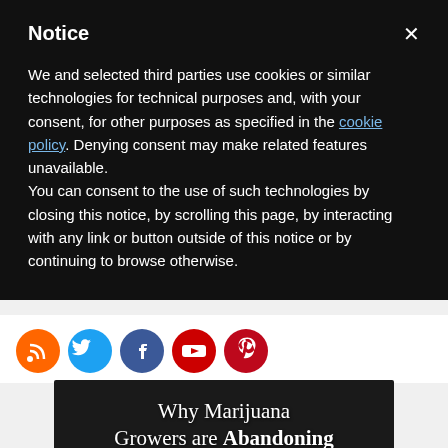Notice
We and selected third parties use cookies or similar technologies for technical purposes and, with your consent, for other purposes as specified in the cookie policy. Denying consent may make related features unavailable.
You can consent to the use of such technologies by closing this notice, by scrolling this page, by interacting with any link or button outside of this notice or by continuing to browse otherwise.
[Figure (infographic): Social media sharing icon buttons: RSS (orange), Twitter (blue), Facebook (blue), YouTube (red), Pinterest (red), arranged in a horizontal row]
[Figure (photo): Promotional image with text 'Why Marijuana Growers are Abandoning General Hydroponics!' overlaid on a dark background with fire/flames at the bottom]